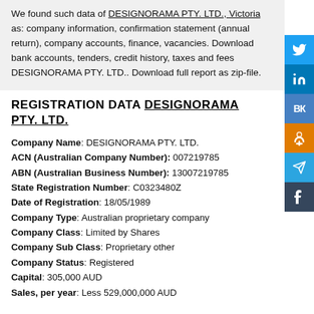We found such data of DESIGNORAMA PTY. LTD., Victoria as: company information, confirmation statement (annual return), company accounts, finance, vacancies. Download bank accounts, tenders, credit history, taxes and fees DESIGNORAMA PTY. LTD.. Download full report as zip-file.
REGISTRATION DATA DESIGNORAMA PTY. LTD.
Company Name: DESIGNORAMA PTY. LTD.
ACN (Australian Company Number): 007219785
ABN (Australian Business Number): 13007219785
State Registration Number: C0323480Z
Date of Registration: 18/05/1989
Company Type: Australian proprietary company
Company Class: Limited by Shares
Company Sub Class: Proprietary other
Company Status: Registered
Capital: 305,000 AUD
Sales, per year: Less 529,000,000 AUD